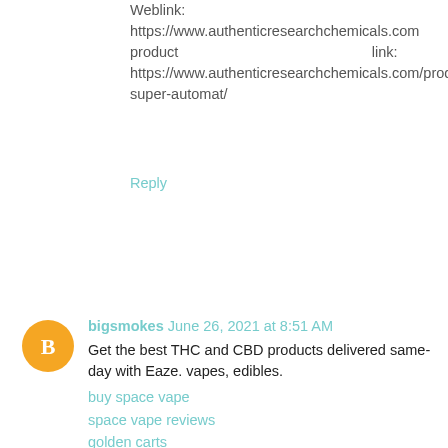Weblink: https://www.authenticresearchchemicals.com product link: https://www.authenticresearchchemicals.com/product/ssd-super-automat/
Reply
[Figure (illustration): Orange circular avatar with white letter B]
bigsmokes June 26, 2021 at 8:51 AM
Get the best THC and CBD products delivered same-day with Eaze. vapes, edibles.
buy space vape
space vape reviews
golden carts
buy Dank vapes cartridges
selected carts
buy selected cartridges
Tko carts
dablogic carts
buy olio carts
native elite cartridges
space vape oil
canna blast